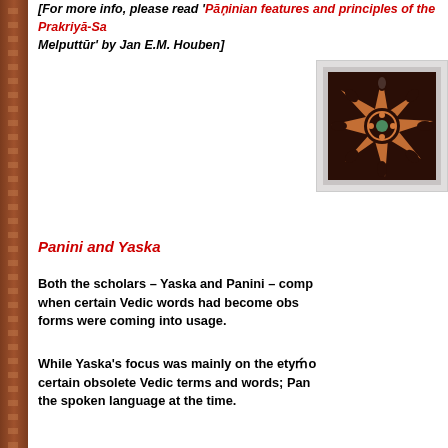[For more info, please read 'Pāṇinian features and principles of the Prakriyā-Sarvasva of Nārāyaṇa Bhaṭṭa of Melputtūr' by Jan E.M. Houben]
[Figure (illustration): Decorative mandala/geometric flower pattern in brown and orange on dark brown background]
Panini and Yaska
Both the scholars – Yaska and Panini – composed their works when certain Vedic words had become obsolete and newer forms were coming into usage.
While Yaska's focus was mainly on the etymological analysis of certain obsolete Vedic terms and words; Panini described the spoken language at the time.